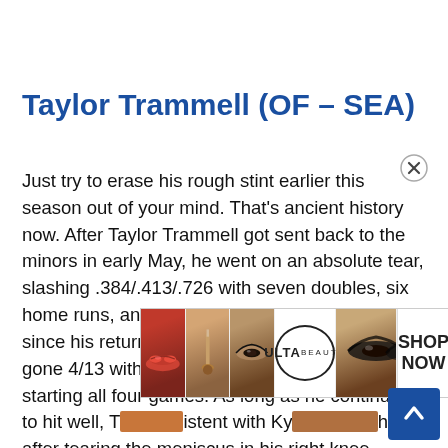Taylor Trammell (OF – SEA)
Just try to erase his rough stint earlier this season out of your mind. That's ancient history now. After Taylor Trammell got sent back to the minors in early May, he went on an absolute tear, slashing .384/.413/.726 with seven doubles, six home runs, and three steals in 17 games. And since his return earlier this week, Trammell has gone 4/13 with a home run and three steals while starting all four games. As long as he continues to hit well, T[...] istent with Ky[...] while after tearing the meniscus in his right knee.
[Figure (other): Advertisement overlay showing beauty product images and ULTA logo with SHOP NOW text]